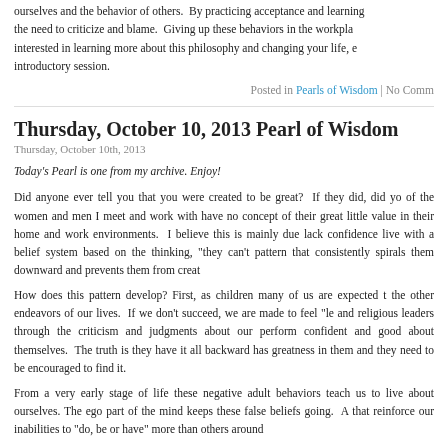ourselves and the behavior of others.  By practicing acceptance and learning the need to criticize and blame.  Giving up these behaviors in the workplace interested in learning more about this philosophy and changing your life, e introductory session.
Posted in Pearls of Wisdom | No Comm
Thursday, October 10, 2013 Pearl of Wisdom
Thursday, October 10th, 2013
Today's Pearl is one from my archive. Enjoy!
Did anyone ever tell you that you were created to be great?  If they did, did yo of the women and men I meet and work with have no concept of their great little value in their home and work environments.  I believe this is mainly due lack confidence live with a belief system based on the thinking, "they can't pattern that consistently spirals them downward and prevents them from creat
How does this pattern develop? First, as children many of us are expected t the other endeavors of our lives.  If we don't succeed, we are made to feel "le and religious leaders through the criticism and judgments about our perform confident and good about themselves.  The truth is they have it all backward has greatness in them and they need to be encouraged to find it.
From a very early stage of life these negative adult behaviors teach us to live about ourselves. The ego part of the mind keeps these false beliefs going.  A that reinforce our inabilities to "do, be or have" more than others around